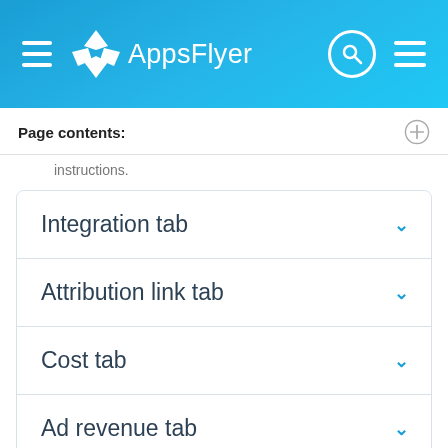AppsFlyer navigation header
Page contents:
instructions.
Integration tab
Attribution link tab
Cost tab
Ad revenue tab